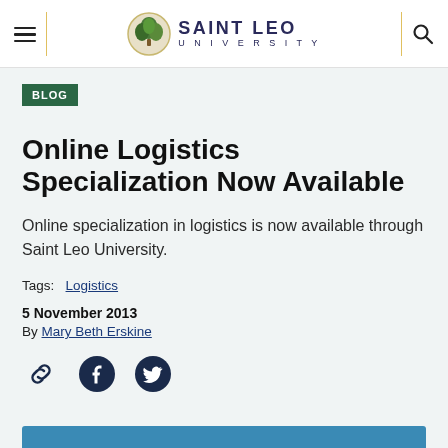Saint Leo University — navigation header with menu, logo, and search
BLOG
Online Logistics Specialization Now Available
Online specialization in logistics is now available through Saint Leo University.
Tags:  Logistics
5 November 2013
By Mary Beth Erskine
[Figure (other): Social share icons: link, Facebook, Twitter]